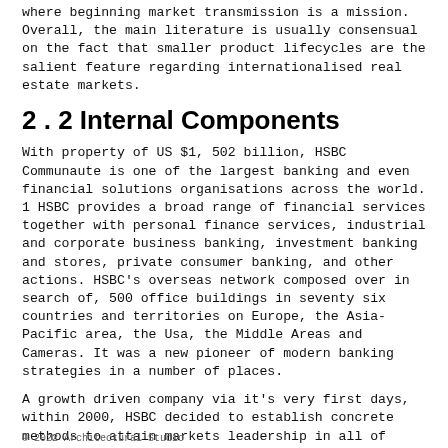where beginning market transmission is a mission. Overall, the main literature is usually consensual on the fact that smaller product lifecycles are the salient feature regarding internationalised real estate markets.
2 . 2 Internal Components
With property of US $1, 502 billion, HSBC Communaute is one of the largest banking and even financial solutions organisations across the world. 1 HSBC provides a broad range of financial services together with personal finance services, industrial and corporate business banking, investment banking and stores, private consumer banking, and other actions. HSBC's overseas network composed over in search of, 500 office buildings in seventy six countries and territories on Europe, the Asia-Pacific area, the Usa, the Middle Areas and Cameras. It was a new pioneer of modern banking strategies in a number of places.
A growth driven company via it's very first days, within 2000, HSBC decided to establish concrete methods to attain markets leadership in all of sectors it all operated for. Though the corporation was among the leading people in parts such as individual finance, individual financial offerings, commercial and company banking, in addition, it wanted to set up its appeal in
© 2022 Architectural Studio